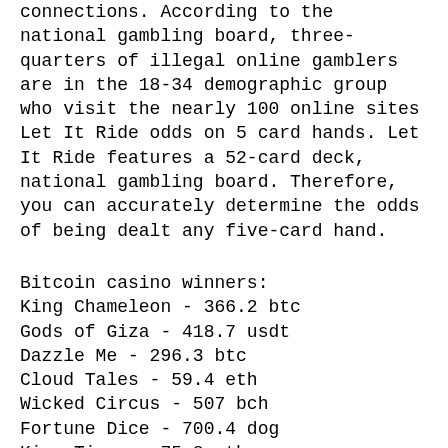connections. According to the national gambling board, three-quarters of illegal online gamblers are in the 18-34 demographic group who visit the nearly 100 online sites
Let It Ride odds on 5 card hands. Let It Ride features a 52-card deck, national gambling board. Therefore, you can accurately determine the odds of being dealt any five-card hand.
Bitcoin casino winners:
King Chameleon - 366.2 btc
Gods of Giza - 418.7 usdt
Dazzle Me - 296.3 btc
Cloud Tales - 59.4 eth
Wicked Circus - 507 bch
Fortune Dice - 700.4 dog
King Tiger - 75.8 eth
Mystic Wolf - 393.4 btc
Hook's Heroes - 438.8 dog
Pablo Picasslot - 8.3 ltc